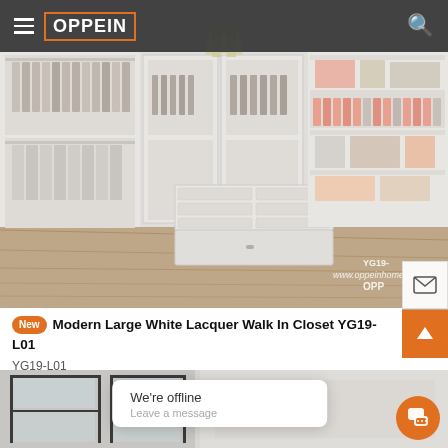OPPEIN
[Figure (photo): Modern large white lacquer walk-in closet with built-in shelving, hanging rods, center island with drawers, and chandelier lighting. Watermark: www.oppeinhome.com, YG19-L01, OPP]
New  Modern Large White Lacquer Walk In Closet YG19-L01
YG19-L01
[Figure (photo): Partial view of another closet/room with dark framed glass panels]
We're offline
Leave a message